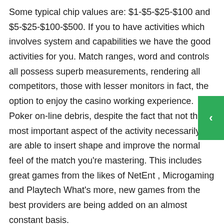Some typical chip values are: $1-$5-$25-$100 and $5-$25-$100-$500. If you to have activities which involves system and capabilities we have the good activities for you. Match ranges, word and controls all possess superb measurements, rendering all competitors, those with lesser monitors in fact, the option to enjoy the casino working experience. Poker on-line debris, despite the fact that not the most important aspect of the activity necessarily, are able to insert shape and improve the normal feel of the match you're mastering. This includes great games from the likes of NetEnt , Microgaming and Playtech What's more, new games from the best providers are being added on an almost constant basis.